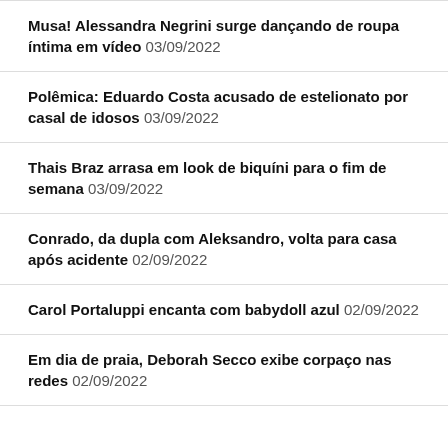Musa! Alessandra Negrini surge dançando de roupa íntima em vídeo 03/09/2022
Polêmica: Eduardo Costa acusado de estelionato por casal de idosos 03/09/2022
Thais Braz arrasa em look de biquíni para o fim de semana 03/09/2022
Conrado, da dupla com Aleksandro, volta para casa após acidente 02/09/2022
Carol Portaluppi encanta com babydoll azul 02/09/2022
Em dia de praia, Deborah Secco exibe corpaço nas redes 02/09/2022